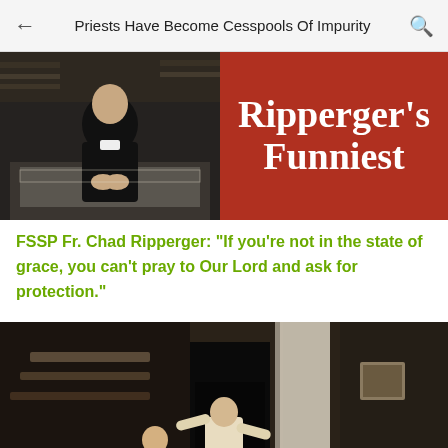Priests Have Become Cesspools Of Impurity
[Figure (photo): Thumbnail image split: left side shows a priest in black clothing seated, right side shows red background with white serif text reading Ripperger's Funniest]
FSSP Fr. Chad Ripperger: "If you're not in the state of grace, you can't pray to Our Lord and ask for protection."
[Figure (photo): Screenshot of a video showing a church interior with people seated in pews and a priest standing at the front]
Priest Dumps BUCKETS OF HOLY WATER On Parishioners.......For